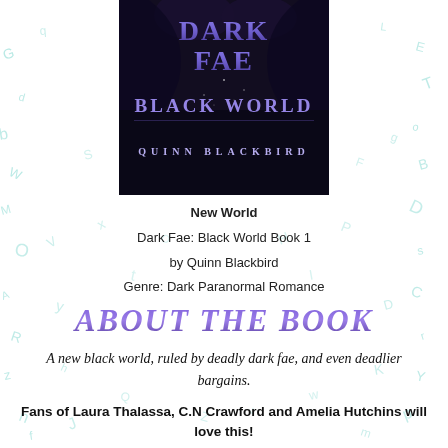[Figure (illustration): Book cover for 'Dark Fae: Black World' by Quinn Blackbird. Dark background with purple gradient title text 'Dark Fae' at top, 'Black World' in glowing purple below, author name 'Quinn Blackbird' at bottom. Two figures visible at top in dark fantasy style.]
New World
Dark Fae: Black World Book 1
by Quinn Blackbird
Genre: Dark Paranormal Romance
About The Book
A new black world, ruled by deadly dark fae, and even deadlier bargains.
Fans of Laura Thalassa, C.N Crawford and Amelia Hutchins will love this!